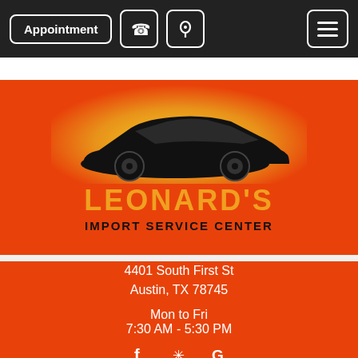Appointment | Phone | Location | Menu
[Figure (logo): Leonard's Import Service Center logo: black car silhouette on orange/yellow gradient background, with 'LEONARD'S' in orange text and 'IMPORT SERVICE CENTER' in black below]
4401 South First St
Austin, TX 78745

Mon to Fri
7:30 AM - 5:30 PM
Emission System Repairs
Posted on 15, April, 2022